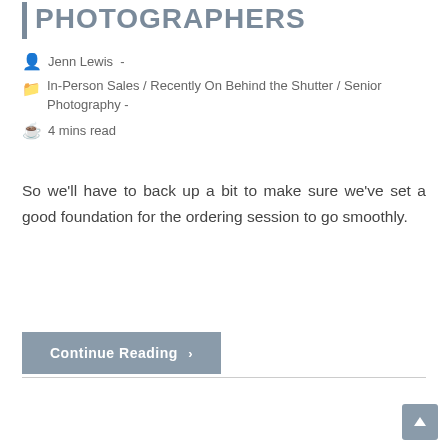PHOTOGRAPHERS
Jenn Lewis -
In-Person Sales / Recently On Behind the Shutter / Senior Photography -
4 mins read
So we'll have to back up a bit to make sure we've set a good foundation for the ordering session to go smoothly.
Continue Reading >